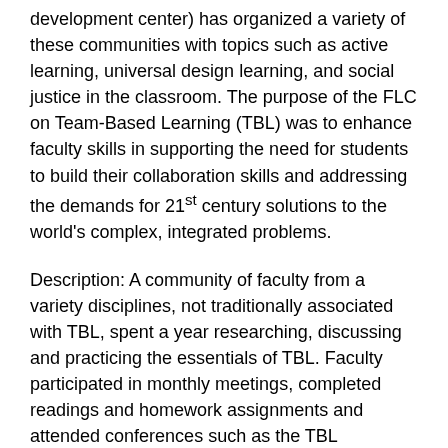development center) has organized a variety of these communities with topics such as active learning, universal design learning, and social justice in the classroom. The purpose of the FLC on Team-Based Learning (TBL) was to enhance faculty skills in supporting the need for students to build their collaboration skills and addressing the demands for 21st century solutions to the world's complex, integrated problems.
Description: A community of faculty from a variety disciplines, not traditionally associated with TBL, spent a year researching, discussing and practicing the essentials of TBL. Faculty participated in monthly meetings, completed readings and homework assignments and attended conferences such as the TBL Collaborative. The faculty also developed workshops and resource materials that were used to educate other faculty at the university on TBL. Faculty included professors in management, biology, political science, psychology, and theology and religious